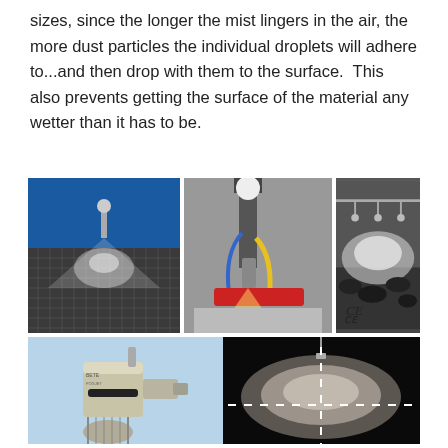sizes, since the longer the mist lingers in the air, the more dust particles the individual droplets will adhere to...and then drop with them to the surface.  This also prevents getting the surface of the material any wetter than it has to be.
[Figure (photo): Collage of five industrial spray nozzle photos: top-left shows a fine mist spray nozzle spraying over a metal grid; top-center shows a CNC machining nozzle with coolant spray on a workpiece; top-right shows a dust suppression spray system over coal with CE mark; bottom-left shows a close-up of a metal spray nozzle component; bottom-right shows a hemispherical mist dome spray pattern on a dark background.]